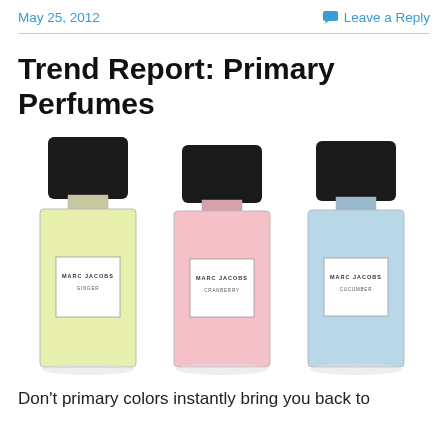May 25, 2012   Leave a Reply
Trend Report: Primary Perfumes
[Figure (photo): Three Marc Jacobs perfume bottles side by side: left bottle is pale yellow (Ginger), center bottle is pale pink (Cranberry), right bottle is pale blue (Cucumber). Each has a black cap and a white label reading MARC JACOBS.]
Don't primary colors instantly bring you back to